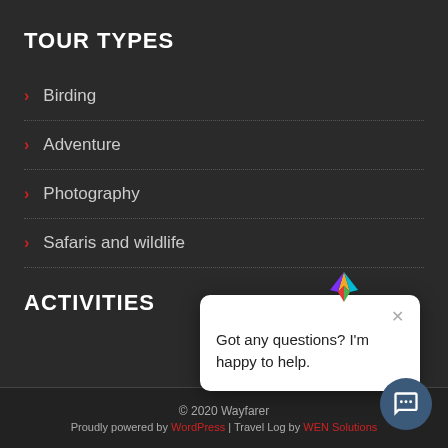TOUR TYPES
Birding
Adventure
Photography
Safaris and wildlife
ACTIVITIES
[Figure (other): Chat popup widget with bird logo icon and message: Got any questions? I'm happy to help.]
© 2020 Wayfarer
Proudly powered by WordPress | Travel Log by WEN Solutions